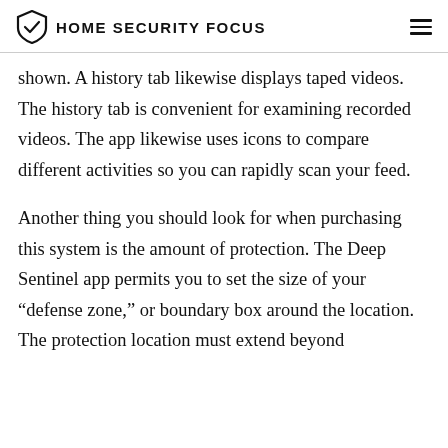HOME SECURITY FOCUS
shown. A history tab likewise displays taped videos. The history tab is convenient for examining recorded videos. The app likewise uses icons to compare different activities so you can rapidly scan your feed.
Another thing you should look for when purchasing this system is the amount of protection. The Deep Sentinel app permits you to set the size of your “defense zone,” or boundary box around the location. The protection location must extend beyond